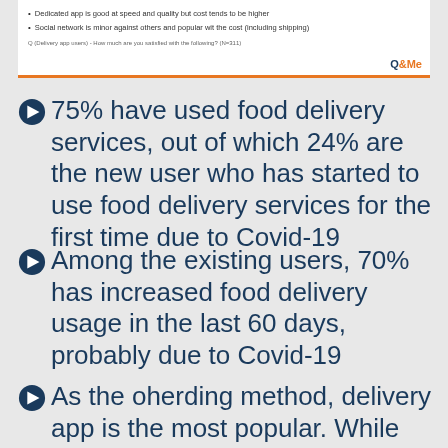[Figure (screenshot): Top portion of a slide showing two bullet points about delivery app speed/quality/cost and social network popularity, with Q&Me logo and a footnote line at the bottom.]
75% have used food delivery services, out of which 24% are the new user who has started to use food delivery services for the first time due to Covid-19
Among the existing users, 70% has increased food delivery usage in the last 60 days, probably due to Covid-19
As the oherding method, delivery app is the most popular. While HCM use app more, Hanoi has the higher ratio of social media or